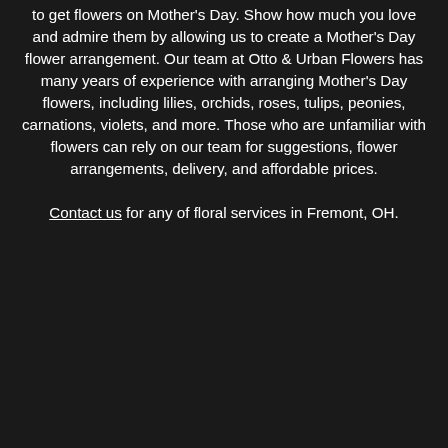if you know that mothers and grandmothers love to get flowers on Mother's Day. Show how much you love and admire them by allowing us to create a Mother's Day flower arrangement. Our team at Otto & Urban Flowers has many years of experience with arranging Mother's Day flowers, including lilies, orchids, roses, tulips, peonies, carnations, violets, and more. Those who are unfamiliar with flowers can rely on our team for suggestions, flower arrangements, delivery, and affordable prices.
Contact us for any of floral services in Fremont, OH.